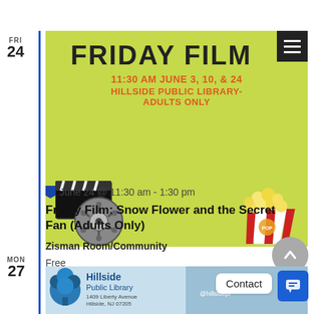FRI 24
[Figure (illustration): Friday Film event banner with 'FRIDAY FILM' title, dates '11:30 AM JUNE 3, 10, & 24', 'HILLSIDE PUBLIC LIBRARY-ADULTS ONLY', film reel and clapperboard illustration, popcorn illustration, lime green background, hamburger menu button]
June 24 @ 11:30 am - 1:30 pm
Friday Film: Snow Flower and the Secret Fan (Adults Only)
Zisman Room/Community
Free
MON 27
[Figure (logo): Hillside Public Library logo with tree graphic, address 1409 Liberty Avenue, Hillside, NJ 07205, @hillsidepl handle, blue background]
Contact